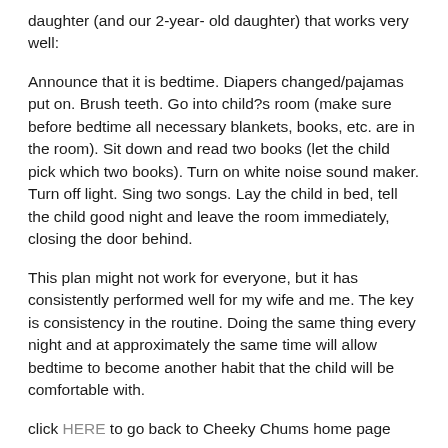daughter (and our 2-year- old daughter) that works very well:
Announce that it is bedtime. Diapers changed/pajamas put on. Brush teeth. Go into child?s room (make sure before bedtime all necessary blankets, books, etc. are in the room). Sit down and read two books (let the child pick which two books). Turn on white noise sound maker. Turn off light. Sing two songs. Lay the child in bed, tell the child good night and leave the room immediately, closing the door behind.
This plan might not work for everyone, but it has consistently performed well for my wife and me. The key is consistency in the routine. Doing the same thing every night and at approximately the same time will allow bedtime to become another habit that the child will be comfortable with.
click HERE to go back to Cheeky Chums home page
Back to Articles